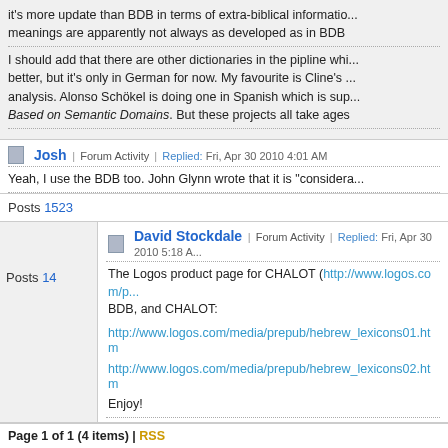it's more update than BDB in terms of extra-biblical informatio... meanings are apparently not always as developed as in BDB
I should add that there are other dictionaries in the pipline whi... better, but it's only in German for now. My favourite is Cline's ... analysis. Alonso Schökel is doing one in Spanish which is sup... Based on Semantic Domains. But these projects all take ages
Josh | Forum Activity | Replied: Fri, Apr 30 2010 4:01 AM
Yeah, I use the BDB too. John Glynn wrote that it is "considera...
Posts 1523
David Stockdale | Forum Activity | Replied: Fri, Apr 30 2010 5:18 A...
The Logos product page for CHALOT (http://www.logos.com/p... BDB, and CHALOT:
http://www.logos.com/media/prepub/hebrew_lexicons01.htm
http://www.logos.com/media/prepub/hebrew_lexicons02.htm
Enjoy!
Posts 14
Page 1 of 1 (4 items) | RSS